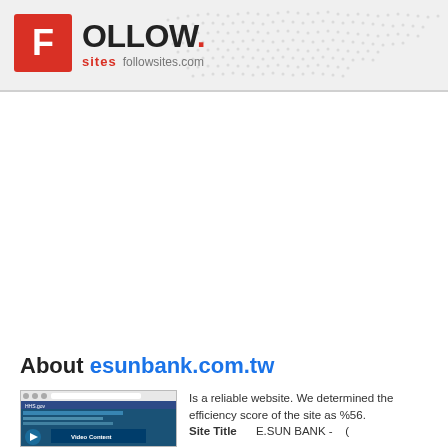[Figure (logo): FOLLOW. sites followsites.com logo with red F icon and world map dotted background in header banner]
About esunbank.com.tw
[Figure (screenshot): Screenshot thumbnail of HHS.gov website showing Video Content section]
Is a reliable website. We determined the efficiency score of the site as %56. Site Title    E.SUN BANK - (